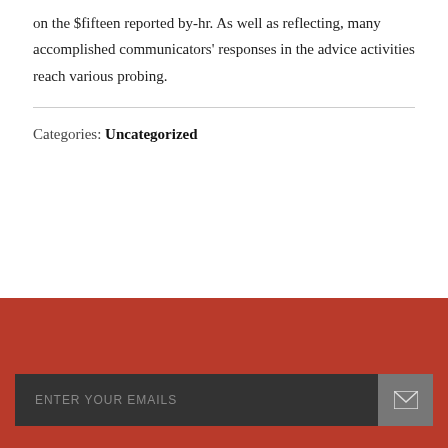on the $fifteen reported by-hr. As well as reflecting, many accomplished communicators' responses in the advice activities reach various probing.
Categories: Uncategorized
[Figure (other): Red footer area with an email subscription input field labeled ENTER YOUR EMAILS and a grey submit button with an envelope icon]